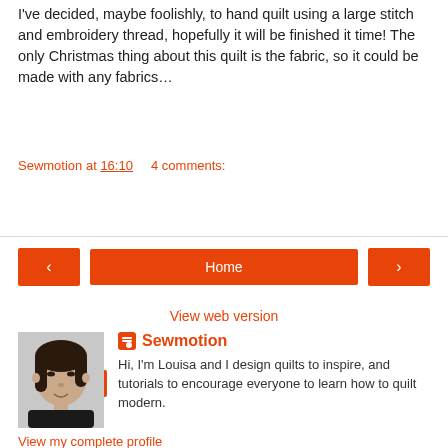I've decided, maybe foolishly, to hand quilt using a large stitch and embroidery thread, hopefully it will be finished it time! The only Christmas thing about this quilt is the fabric, so it could be made with any fabrics…
Sewmotion at 16:10    4 comments:
Share
‹  Home  ›
View web version
[Figure (photo): Profile photo of Louisa, a woman with dark hair]
Sewmotion
Hi, I'm Louisa and I design quilts to inspire, and tutorials to encourage everyone to learn how to quilt modern.
View my complete profile